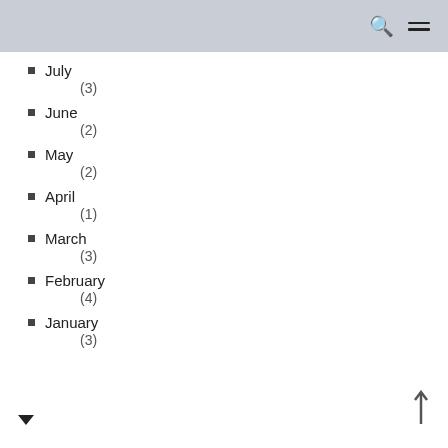July (3)
June (2)
May (2)
April (1)
March (3)
February (4)
January (3)